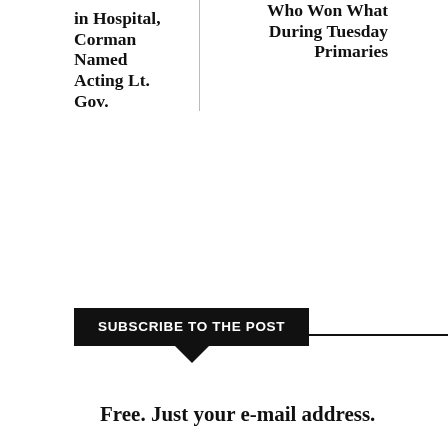in Hospital, Corman Named Acting Lt. Gov.
Who Won What During Tuesday Primaries
SUBSCRIBE TO THE POST
Free. Just your e-mail address.